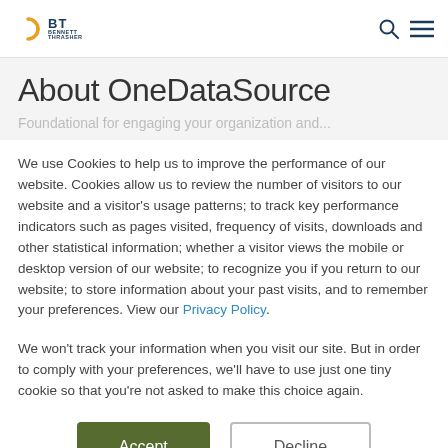BT BENNETT THRASHER [logo] [search icon] [menu icon]
About OneDataSource
Foundational for engaging your organization and...
We use Cookies to help us to improve the performance of our website. Cookies allow us to review the number of visitors to our website and a visitor's usage patterns; to track key performance indicators such as pages visited, frequency of visits, downloads and other statistical information; whether a visitor views the mobile or desktop version of our website; to recognize you if you return to our website; to store information about your past visits, and to remember your preferences. View our Privacy Policy.
We won't track your information when you visit our site. But in order to comply with your preferences, we'll have to use just one tiny cookie so that you're not asked to make this choice again.
Accept
Decline